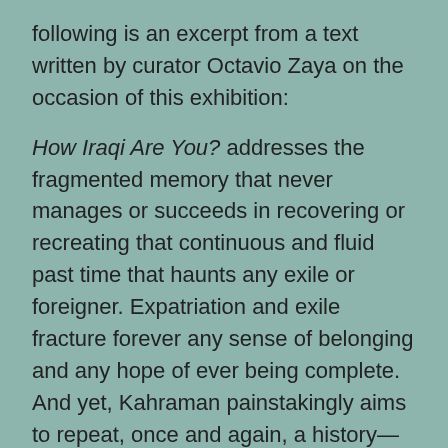following is an excerpt from a text written by curator Octavio Zaya on the occasion of this exhibition:
How Iraqi Are You? addresses the fragmented memory that never manages or succeeds in recovering or recreating that continuous and fluid past time that haunts any exile or foreigner. Expatriation and exile fracture forever any sense of belonging and any hope of ever being complete. And yet, Kahraman painstakingly aims to repeat, once and again, a history—her history—one that she feels she is forgetting; a collection of narratives that not